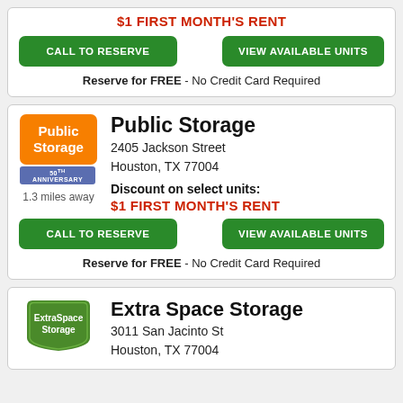$1 FIRST MONTH'S RENT
CALL TO RESERVE | VIEW AVAILABLE UNITS
Reserve for FREE - No Credit Card Required
[Figure (logo): Public Storage logo with orange rounded rectangle and 50th Anniversary banner]
Public Storage
2405 Jackson Street
Houston, TX 77004
1.3 miles away
Discount on select units:
$1 FIRST MONTH'S RENT
CALL TO RESERVE | VIEW AVAILABLE UNITS
Reserve for FREE - No Credit Card Required
[Figure (logo): Extra Space Storage logo, green shield/badge shape with white text]
Extra Space Storage
3011 San Jacinto St
Houston, TX 77004